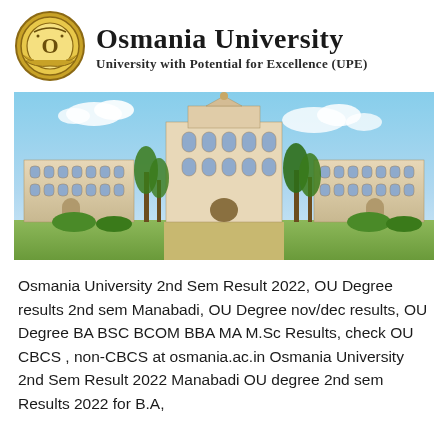[Figure (logo): Osmania University crest/seal logo — circular gold emblem with decorative border]
Osmania University
University with Potential for Excellence (UPE)
[Figure (photo): Photograph of the Osmania University main building — large colonial-Moorish style structure with central tower, arched windows, surrounded by trees under a blue sky]
Osmania University 2nd Sem Result 2022, OU Degree results 2nd sem Manabadi, OU Degree nov/dec results, OU Degree BA BSC BCOM BBA MA M.Sc Results, check OU CBCS , non-CBCS at osmania.ac.in Osmania University 2nd Sem Result 2022 Manabadi OU degree 2nd sem Results 2022 for B.A,